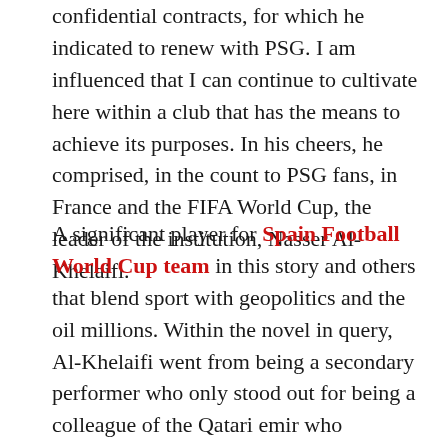confidential contracts, for which he indicated to renew with PSG. I am influenced that I can continue to cultivate here within a club that has the means to achieve its purposes. In his cheers, he comprised, in the count to PSG fans, in France and the FIFA World Cup, the leader of the institution, Nasser Al-Khelaifi.
A significant player for Spain Football World Cup team in this story and others that blend sport with geopolitics and the oil millions. Within the novel in query, Al-Khelaifi went from being a secondary performer who only stood out for being a colleague of the Qatari emir who possesses the wallet, Tamim bin Hamad Al Thani, to become an influential demonstrative of the Middle East state.